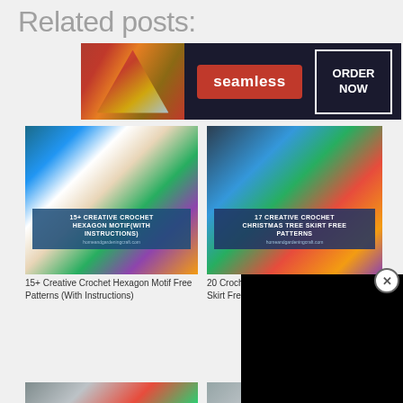Related posts:
[Figure (infographic): Advertisement banner for Seamless food delivery with pizza image, 'seamless' red button, and 'ORDER NOW' bordered button]
[Figure (infographic): Crochet thumbnail image with overlay text: 15+ CREATIVE CROCHET HEXAGON MOTIF (WITH INSTRUCTIONS)]
15+ Creative Crochet Hexagon Motif Free Patterns (With Instructions)
[Figure (infographic): Christmas crochet thumbnail with overlay text: 17 CREATIVE CROCHET CHRISTMAS TREE SKIRT FREE PATTERNS]
20 Croche... Skirt Free...
[Figure (infographic): Cat house crochet thumbnail with overlay text: 15 CROCHET CAT HOUSE AND NEST BED PATTERNS]
[Figure (infographic): Crochet bags thumbnail with purple overlay text: 20 20 CROCHET BAGS PATTERNS FOR KIDS]